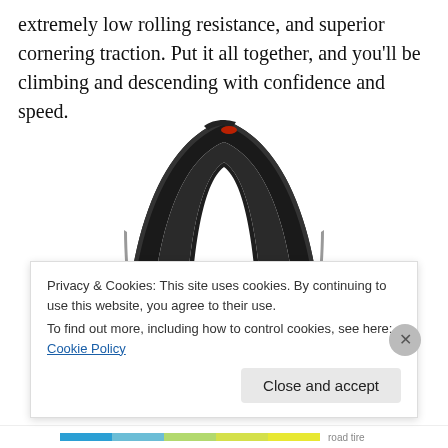extremely low rolling resistance, and superior cornering traction. Put it all together, and you'll be climbing and descending with confidence and speed.
[Figure (photo): Black road bicycle tire shown from the side, arched shape visible against white background]
Privacy & Cookies: This site uses cookies. By continuing to use this website, you agree to their use.
To find out more, including how to control cookies, see here: Cookie Policy
Close and accept